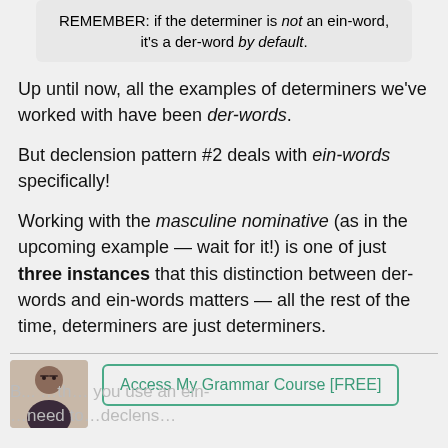REMEMBER: if the determiner is not an ein-word, it's a der-word by default.
Up until now, all the examples of determiners we've worked with have been der-words.
But declension pattern #2 deals with ein-words specifically!
Working with the masculine nominative (as in the upcoming example — wait for it!) is one of just three instances that this distinction between der-words and ein-words matters — all the rest of the time, determiners are just determiners.
[Figure (photo): Photo of a woman with glasses, partially visible at bottom left]
Access My Grammar Course [FREE]
But... you use an ein-...need to...determiner...